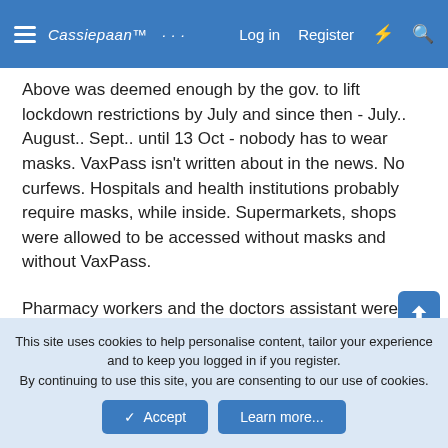Cassiepaan™  Log in  Register
Above was deemed enough by the gov. to lift lockdown restrictions by July and since then - July.. August.. Sept.. until 13 Oct - nobody has to wear masks. VaxPass isn't written about in the news. No curfews. Hospitals and health institutions probably require masks, while inside. Supermarkets, shops were allowed to be accessed without masks and without VaxPass.
Pharmacy workers and the doctors assistant were wearing their masks all along. I wonder how they didn't contract lung-infections?
This site uses cookies to help personalise content, tailor your experience and to keep you logged in if you register.
By continuing to use this site, you are consenting to our use of cookies.